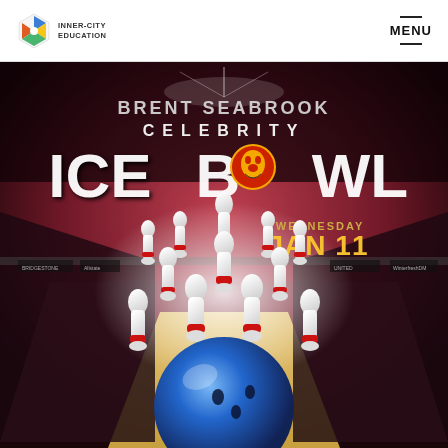Inner-City Education | MENU
[Figure (illustration): Brent Seabrook Celebrity Ice Bowl event poster featuring bowling pins and blue bowling ball on a hockey rink background with Chicago Blackhawks logo. Text reads: BRENT SEABROOK CELEBRITY ICE BOWL, WEDNESDAY JAN 11]